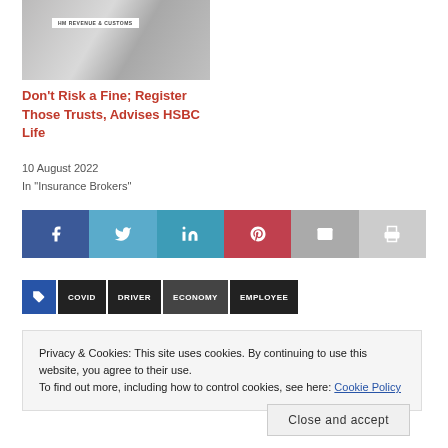[Figure (photo): Stacked white boxes labeled 'HM Revenue & Customs']
Don't Risk a Fine; Register Those Trusts, Advises HSBC Life
10 August 2022
In "Insurance Brokers"
[Figure (infographic): Social sharing buttons: Facebook, Twitter, LinkedIn, Pinterest, Email, Print]
[Figure (infographic): Tag buttons: tag icon, COVID, DRIVER, ECONOMY, EMPLOYEE]
Privacy & Cookies: This site uses cookies. By continuing to use this website, you agree to their use.
To find out more, including how to control cookies, see here: Cookie Policy
Close and accept